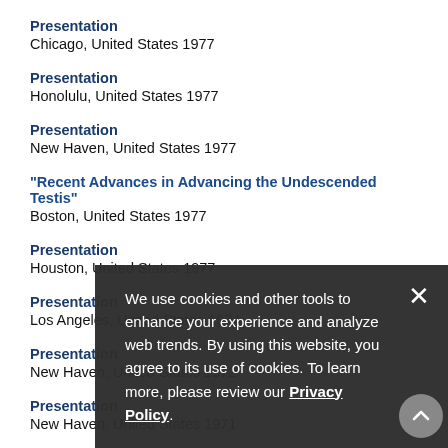Presentation
Chicago, United States 1977
Presentation
Honolulu, United States 1977
Presentation
New Haven, United States 1977
"Recent Advances in Advancing the Undescended Testis"
Boston, United States 1977
Presentation
Houston, United States 1977
Presentation
Los Angeles, United States 1974
Presentation
New Haven, United States 1972
Presentation
New Haven, United States 1971
Presentation